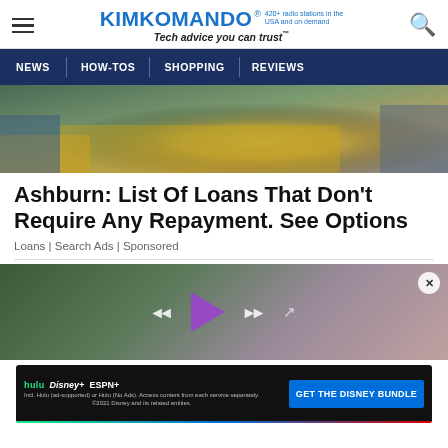KimKomando® 420+ radio stations in the USA and on demand — Tech advice you can trust™
[Figure (screenshot): Navigation bar with NEWS, HOW-TOS, SHOPPING, REVIEWS on dark blue background]
[Figure (photo): Top portion of article image showing pile of money/cash bills with jeans and jacket visible]
Ashburn: List Of Loans That Don't Require Any Repayment. See Options
Loans | Search Ads | Sponsored
[Figure (screenshot): Video player showing media controls (rewind, play triangle in purple, fast-forward, share) on blurred background with close X button]
[Figure (screenshot): Disney Bundle advertisement showing hulu, Disney+, ESPN+ logos with 'GET THE DISNEY BUNDLE' CTA button and fine print about Hulu ad-supported or No Ads options. ©2021 Disney and its related entities.]